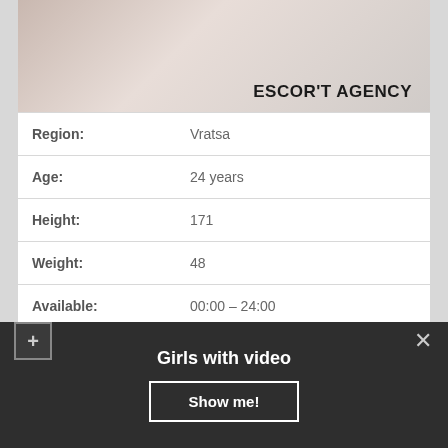[Figure (photo): Photo banner with escort agency label]
| Field | Value |
| --- | --- |
| Region: | Vratsa |
| Age: | 24 years |
| Height: | 171 |
| Weight: | 48 |
| Available: | 00:00 – 24:00 |
| Sizes: | 89-56-86 |
| Services: | Spanking (giving), Massage professional, Swinging ♥ |
| Outcall: | Only in saunas |
Girls with video
Show me!